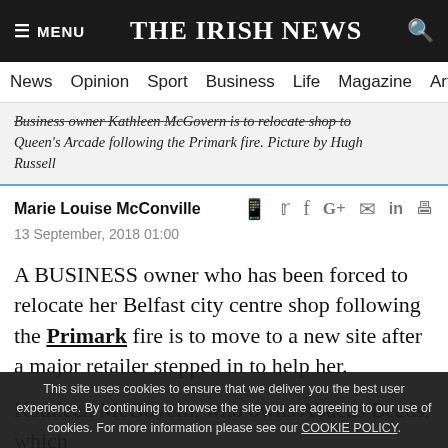≡ MENU  THE IRISH NEWS  🔍
News  Opinion  Sport  Business  Life  Magazine  Arts
Business owner Kathleen McGovern is to relocate shop to Queen's Arcade following the Primark fire. Picture by Hugh Russell
Marie Louise McConville
13 September, 2018 01:00
A BUSINESS owner who has been forced to relocate her Belfast city centre shop following the Primark fire is to move to a new site after a major retailer stepped in to help her.
Kathleen McGovern, who owns Abacus Beads, which
Castle Street for 15 years, is to set up a new store in
This site uses cookies to ensure that we deliver you the best user experience. By continuing to browse the site you are agreeing to our use of cookies. For more information please see our COOKIE POLICY.